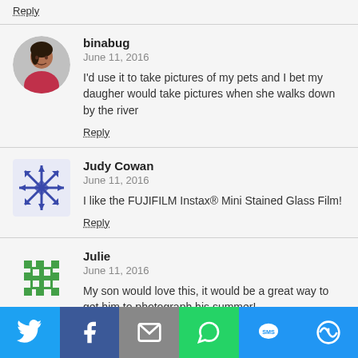Reply
binabug
June 11, 2016
I'd use it to take pictures of my pets and I bet my daugher would take pictures when she walks down by the river
Reply
Judy Cowan
June 11, 2016
I like the FUJIFILM Instax® Mini Stained Glass Film!
Reply
Julie
June 11, 2016
My son would love this, it would be a great way to get him to photograph his summer!